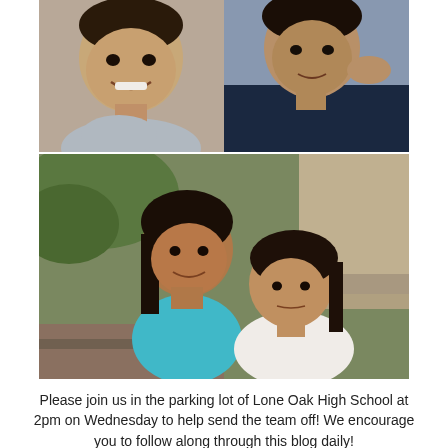[Figure (photo): Two boys close together smiling at camera, one in light grey shirt, one in dark navy shirt, outdoor setting]
[Figure (photo): Two young girls hugging, one in turquoise shirt, one in white shirt, outdoor setting with greenery and steps in background]
Please join us in the parking lot of Lone Oak High School at 2pm on Wednesday to help send the team off! We encourage you to follow along through this blog daily!